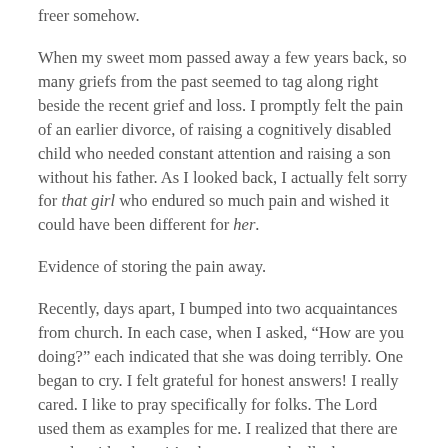freer somehow.
When my sweet mom passed away a few years back, so many griefs from the past seemed to tag along right beside the recent grief and loss. I promptly felt the pain of an earlier divorce, of raising a cognitively disabled child who needed constant attention and raising a son without his father. As I looked back, I actually felt sorry for that girl who endured so much pain and wished it could have been different for her.
Evidence of storing the pain away.
Recently, days apart, I bumped into two acquaintances from church. In each case, when I asked, “How are you doing?” each indicated that she was doing terribly. One began to cry. I felt grateful for honest answers! I really cared. I like to pray specifically for folks. The Lord used them as examples for me. I realized that there are people with whom it’s okay to cry and talk about my distress.
I still haven’t figured all this out but I want to be better at being honest. To not stuff emotions until a meltdown occurs.